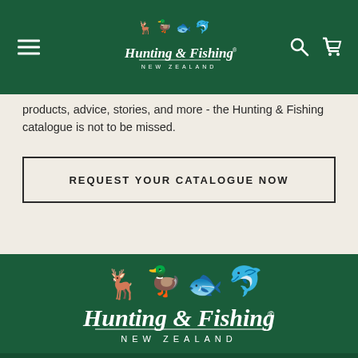[Figure (logo): Hunting & Fishing New Zealand logo in white on dark green nav bar, with hamburger menu icon on left and search/cart icons on right]
products, advice, stories, and more - the Hunting & Fishing catalogue is not to be missed.
REQUEST YOUR CATALOGUE NOW
[Figure (logo): Hunting & Fishing New Zealand large logo in white on dark green footer area]